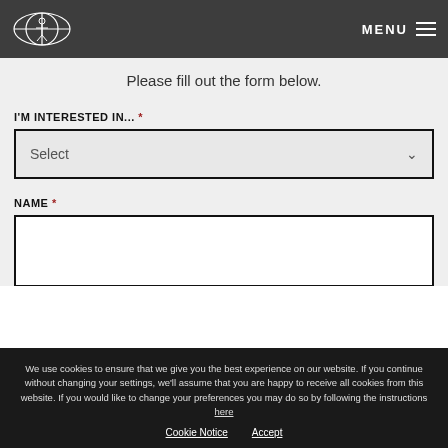MENU
Please fill out the form below.
I'M INTERESTED IN... *
Select
NAME *
FIRST
We use cookies to ensure that we give you the best experience on our website. If you continue without changing your settings, we'll assume that you are happy to receive all cookies from this website. If you would like to change your preferences you may do so by following the instructions here
Cookie Notice  Accept